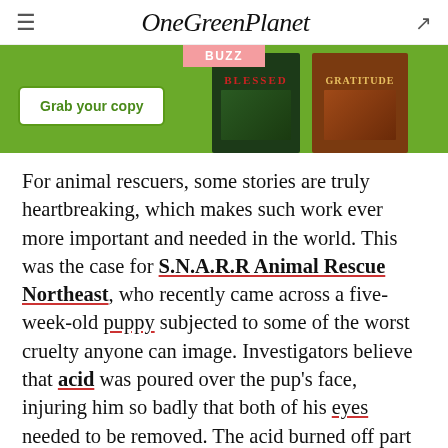OneGreenPlanet
[Figure (other): Promotional banner with green background showing 'Grab your copy' button and two book covers labeled BLESSED and GRATITUDE, with a pink BUZZ label at top]
For animal rescuers, some stories are truly heartbreaking, which makes such work ever more important and needed in the world. This was the case for S.N.A.R.R Animal Rescue Northeast, who recently came across a five-week-old puppy subjected to some of the worst cruelty anyone can image. Investigators believe that acid was poured over the pup's face, injuring him so badly that both of his eyes needed to be removed. The acid burned off part of his nose, whiskers, and injured